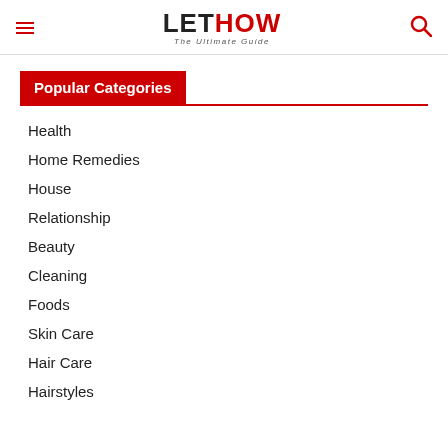LETHOW The Ultimate Guide
Popular Categories
Health
Home Remedies
House
Relationship
Beauty
Cleaning
Foods
Skin Care
Hair Care
Hairstyles